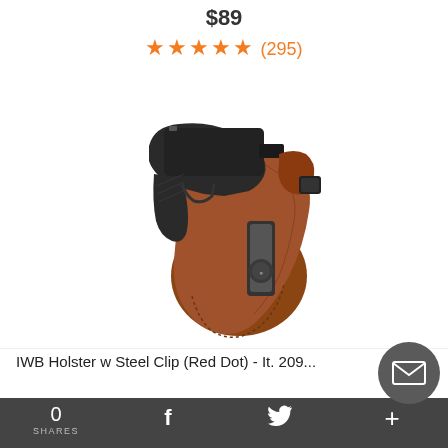$89
★★★★★ (295)
[Figure (photo): Product photo of a brown leather IWB holster with steel clip holding a black semi-automatic pistol, shown at an angle on white background.]
IWB Holster w Steel Clip (Red Dot) - It. 209...
0 SHARES  f  ✓  +